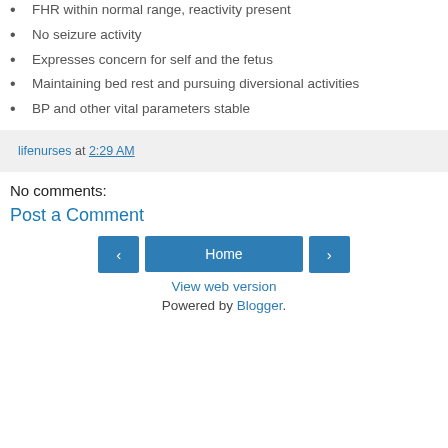FHR within normal range, reactivity present
No seizure activity
Expresses concern for self and the fetus
Maintaining bed rest and pursuing diversional activities
BP and other vital parameters stable
lifenurses at 2:29 AM
No comments:
Post a Comment
Home
View web version
Powered by Blogger.